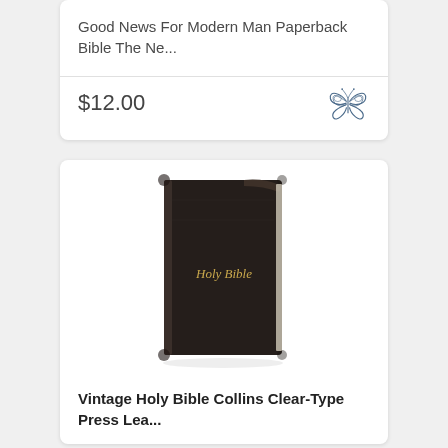Good News For Modern Man Paperback Bible The Ne...
$12.00
[Figure (photo): A worn dark brown/black vintage Holy Bible with gold lettering on the cover reading 'Holy Bible', showing leather with wear and aging.]
Vintage Holy Bible Collins Clear-Type Press Lea...